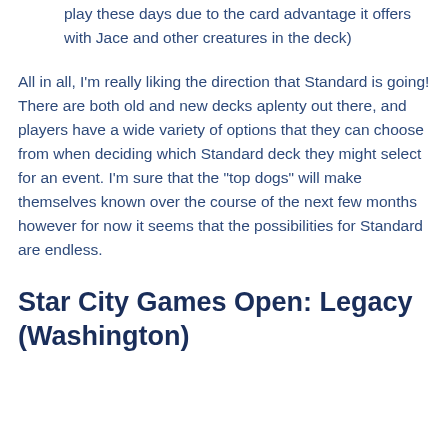play these days due to the card advantage it offers with Jace and other creatures in the deck)
All in all, I'm really liking the direction that Standard is going! There are both old and new decks aplenty out there, and players have a wide variety of options that they can choose from when deciding which Standard deck they might select for an event. I'm sure that the “top dogs” will make themselves known over the course of the next few months however for now it seems that the possibilities for Standard are endless.
Star City Games Open: Legacy (Washington)